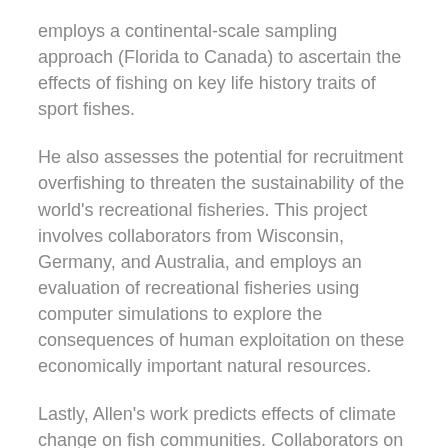employs a continental-scale sampling approach (Florida to Canada) to ascertain the effects of fishing on key life history traits of sport fishes.
He also assesses the potential for recruitment overfishing to threaten the sustainability of the world's recreational fisheries. This project involves collaborators from Wisconsin, Germany, and Australia, and employs an evaluation of recreational fisheries using computer simulations to explore the consequences of human exploitation on these economically important natural resources.
Lastly, Allen's work predicts effects of climate change on fish communities. Collaborators on this project include climate scientists and senior ecologists affiliated with the Florida Cooperative Fish and Wildlife